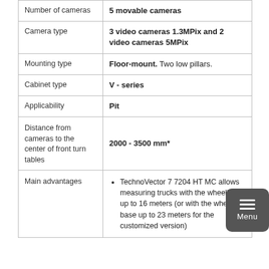| Specification | Value |
| --- | --- |
| Number of cameras | 5 movable cameras |
| Camera type | 3 video cameras 1.3MPix and 2 video cameras 5MPix |
| Mounting type | Floor-mount. Two low pillars. |
| Cabinet type | V - series |
| Applicability | Pit |
| Distance from cameras to the center of front turn tables | 2000 - 3500 mm* |
| Main advantages | TechnoVector 7 7204 HT MC allows measuring trucks with the wheelbase up to 16 meters (or with the wheel base up to 23 meters for the customized version) |